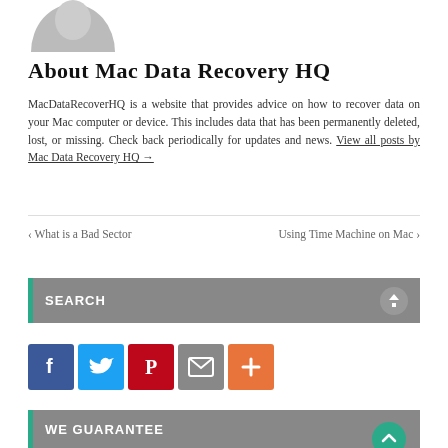[Figure (illustration): Grey circular avatar placeholder, cropped at the bottom (top half of a circle)]
About Mac Data Recovery HQ
MacDataRecoverHQ is a website that provides advice on how to recover data on your Mac computer or device. This includes data that has been permanently deleted, lost, or missing. Check back periodically for updates and news. View all posts by Mac Data Recovery HQ →
‹ What is a Bad Sector    Using Time Machine on Mac ›
SEARCH
[Figure (infographic): Social sharing buttons row: Facebook (blue), Twitter (light blue), Pinterest (red), Email (grey), More/Plus (orange)]
WE GUARANTEE